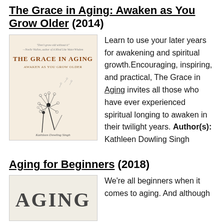The Grace in Aging: Awaken as You Grow Older (2014)
[Figure (illustration): Book cover of 'The Grace in Aging: Awaken as You Grow Older' by Kathleen Dowling Singh, featuring dandelion illustrations on a warm beige background.]
Learn to use your later years for awakening and spiritual growth.Encouraging, inspiring, and practical, The Grace in Aging invites all those who have ever experienced spiritual longing to awaken in their twilight years. Author(s): Kathleen Dowling Singh
Aging for Beginners (2018)
[Figure (illustration): Book cover of 'Aging for Beginners' showing the word AGING in large letters on a light background.]
We're all beginners when it comes to aging. And although